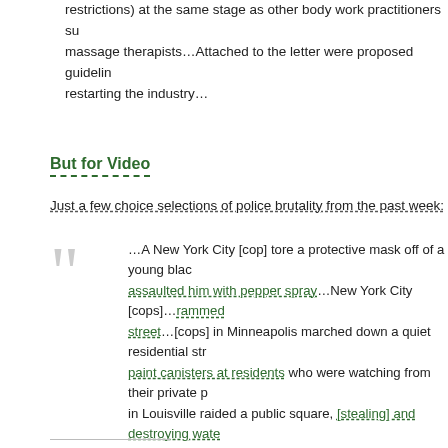restrictions) at the same stage as other body work practitioners such as massage therapists…Attached to the letter were proposed guidelines for restarting the industry…
But for Video
Just a few choice selections of police brutality from the past week:
…A New York City [cop] tore a protective mask off of a young black man and assaulted him with pepper spray…New York City [cops]…rammed a car into the street…[cops] in Minneapolis marched down a quiet residential street, firing paint canisters at residents who were watching from their private property…cops in Louisville raided a public square, [stealing] and destroying water and milk used to counter irritants like pepper spray…Atlanta police [shot] two young people…with tasers and t[ore] them out of their car…A New York City cop used two hands to throw a woman to the ground…San Antonio Police used tear gas against people. So did Dallas police. So did Los Angeles police. So did DC police. The list goes on…A freelance photographer in Minneapolis was made permanently blind in her left eye after being [intentionally] shot [in the face with a] rubber bullet at close range]…